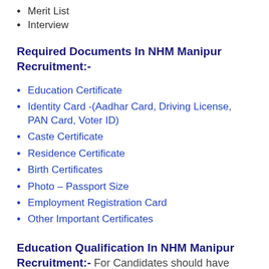Merit List
Interview
Required Documents In NHM Manipur Recruitment:-
Education Certificate
Identity Card -(Aadhar Card, Driving License, PAN Card, Voter ID)
Caste Certificate
Residence Certificate
Birth Certificates
Photo – Passport Size
Employment Registration Card
Other Important Certificates
Education Qualification In NHM Manipur Recruitment:- For Candidates should have